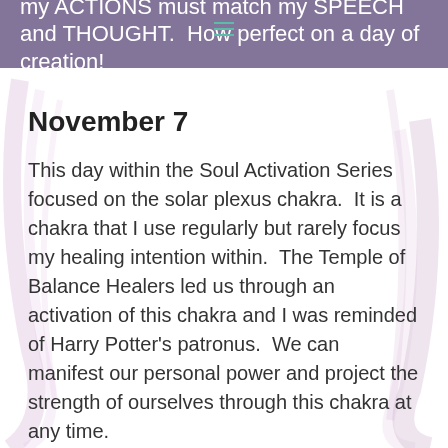my ACTIONS must match my SPEECH and THOUGHT.  How perfect on a day of creation!
November 7
This day within the Soul Activation Series focused on the solar plexus chakra.  It is a chakra that I use regularly but rarely focus my healing intention within.  The Temple of Balance Healers led us through an activation of this chakra and I was reminded of Harry Potter's patronus.  We can manifest our personal power and project the strength of ourselves through this chakra at any time.